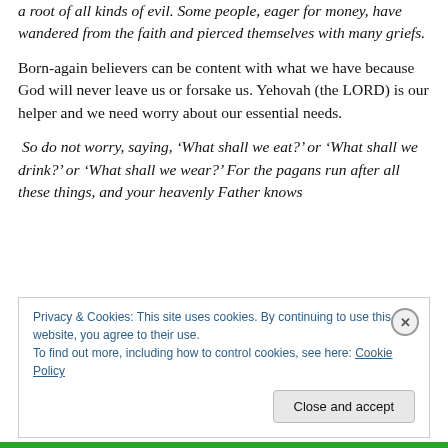a root of all kinds of evil. Some people, eager for money, have wandered from the faith and pierced themselves with many griefs.
Born-again believers can be content with what we have because God will never leave us or forsake us. Yehovah (the LORD) is our helper and we need worry about our essential needs.
So do not worry, saying, ‘What shall we eat?’ or ‘What shall we drink?’ or ‘What shall we wear?’ For the pagans run after all these things, and your heavenly Father knows
Privacy & Cookies: This site uses cookies. By continuing to use this website, you agree to their use.
To find out more, including how to control cookies, see here: Cookie Policy
Close and accept